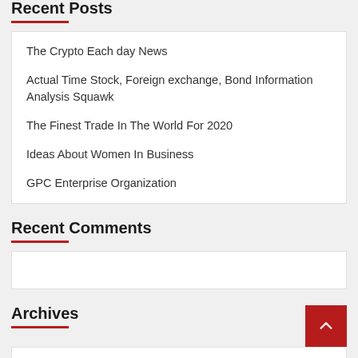Recent Posts
The Crypto Each day News
Actual Time Stock, Foreign exchange, Bond Information Analysis Squawk
The Finest Trade In The World For 2020
Ideas About Women In Business
GPC Enterprise Organization
Recent Comments
Archives